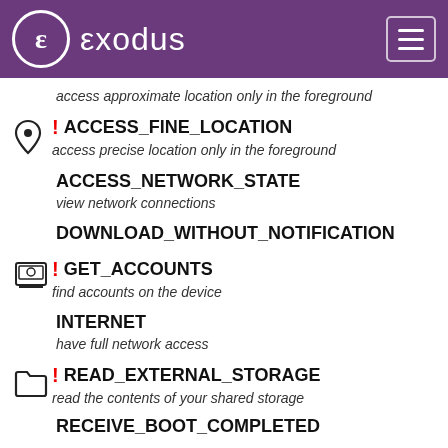ε exodus
access approximate location only in the foreground
! ACCESS_FINE_LOCATION
access precise location only in the foreground
ACCESS_NETWORK_STATE
view network connections
DOWNLOAD_WITHOUT_NOTIFICATION
! GET_ACCOUNTS
find accounts on the device
INTERNET
have full network access
! READ_EXTERNAL_STORAGE
read the contents of your shared storage
RECEIVE_BOOT_COMPLETED